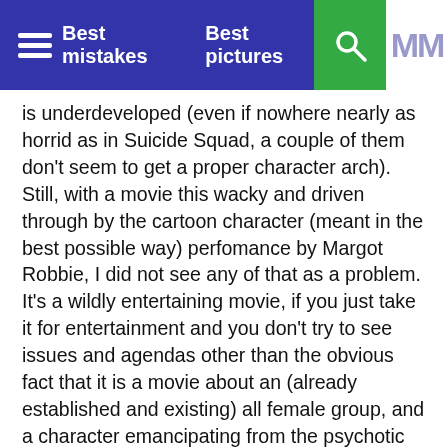Best mistakes   Best pictures
is underdeveloped (even if nowhere nearly as horrid as in Suicide Squad, a couple of them don't seem to get a proper character arch). Still, with a movie this wacky and driven through by the cartoon character (meant in the best possible way) perfomance by Margot Robbie, I did not see any of that as a problem. It's a wildly entertaining movie, if you just take it for entertainment and you don't try to see issues and agendas other than the obvious fact that it is a movie about an (already established and existing) all female group, and a character emancipating from the psychotic abusive boyfriend that is not a part of the DC cinematic universe (if there is such a thing?) anymore for entirely unrelated reasons.
Fun and a joy to watch in particular in the more colorful and less plot-driven first half, it has very well shot action sequences who do have that Chad Stahelski touch to them and that is a pleasant break from the usually